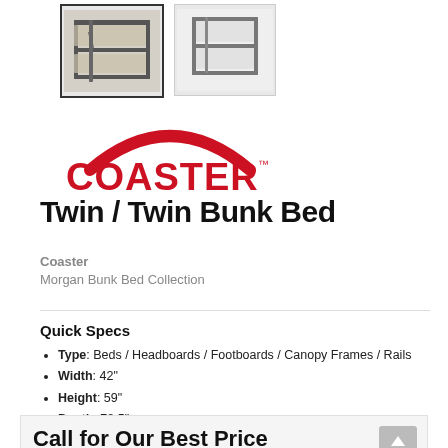[Figure (photo): Two thumbnail images of a metal bunk bed. First thumbnail is selected with a dark border, second has a light border. Both show a twin/twin metal bunk bed.]
[Figure (logo): Coaster brand logo: red arch above bold red text 'COASTER' with trademark symbol]
Twin / Twin Bunk Bed
Coaster
Morgan Bunk Bed Collection
Quick Specs
Type: Beds / Headboards / Footboards / Canopy Frames / Rails
Width: 42"
Height: 59"
Depth: 78.5"
Call for Our Best Price